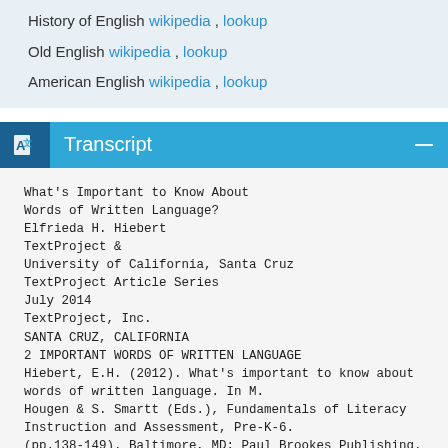History of English wikipedia , lookup
Old English wikipedia , lookup
American English wikipedia , lookup
Transcript
What's Important to Know About Words of Written Language?
Elfrieda H. Hiebert
TextProject &
University of California, Santa Cruz
TextProject Article Series
July 2014
TextProject, Inc.
SANTA CRUZ, CALIFORNIA
2 IMPORTANT WORDS OF WRITTEN LANGUAGE
Hiebert, E.H. (2012). What's important to know about words of written language. In M. Hougen & S. Smartt (Eds.), Fundamentals of Literacy Instruction and Assessment, Pre-K-6. (pp.138-149). Baltimore, MD: Paul Brookes Publishing.
What's Important to Know About the Words of Written Language
Hi. Namaste. Konnichiwa. You'll recognize that first word as an informal way English speakers greet one another. The second word will be familiar to Hindi speakers and yoga aficionados, while Japanese speakers will recognize